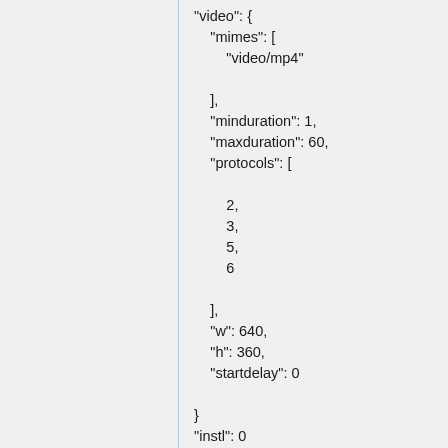"video": {
    "mimes": [
        "video/mp4"
    ],
    "minduration": 1,
    "maxduration": 60,
    "protocols": [
        2,
        3,
        5,
        6
    ],
    "w": 640,
    "h": 360,
    "startdelay": 0
}
"instl": 0
}